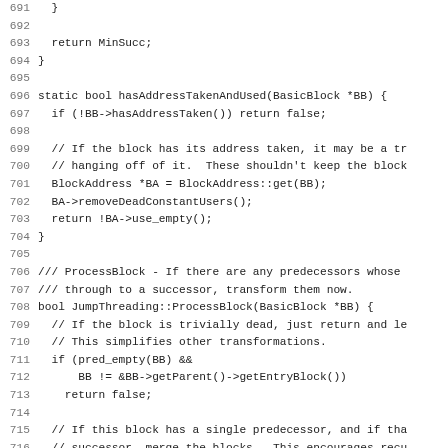[Figure (screenshot): Source code listing (C++) with line numbers 691-723, showing functions hasAddressTakenAndUsed and JumpThreading::ProcessBlock with monospace font on white background.]